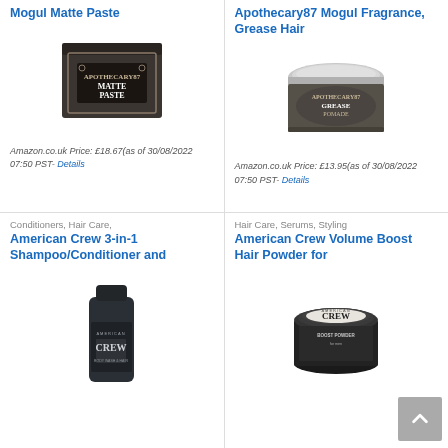Mogul Matte Paste
[Figure (photo): Photo of Mogul Matte Paste product box]
Amazon.co.uk Price: £18.67(as of 30/08/2022 07:50 PST- Details)
Apothecary87 Mogul Fragrance, Grease Hair
[Figure (photo): Photo of Apothecary87 Mogul Grease Hair Pomade product tin]
Amazon.co.uk Price: £13.95(as of 30/08/2022 07:50 PST- Details)
Conditioners, Hair Care,
American Crew 3-in-1 Shampoo/Conditioner and
[Figure (photo): Photo of American Crew 3-in-1 Shampoo/Conditioner bottle]
Hair Care, Serums, Styling
American Crew Volume Boost Hair Powder for
[Figure (photo): Photo of American Crew Volume Boost Hair Powder tin]